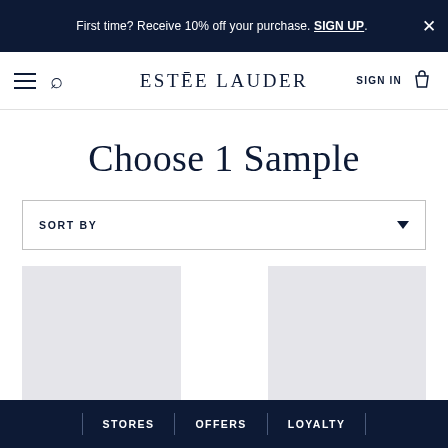First time? Receive 10% off your purchase. SIGN UP.
ESTĒE LAUDER — SIGN IN
Choose 1 Sample
SORT BY
[Figure (photo): Two light gray product placeholder image cards side by side]
STORES | OFFERS | LOYALTY